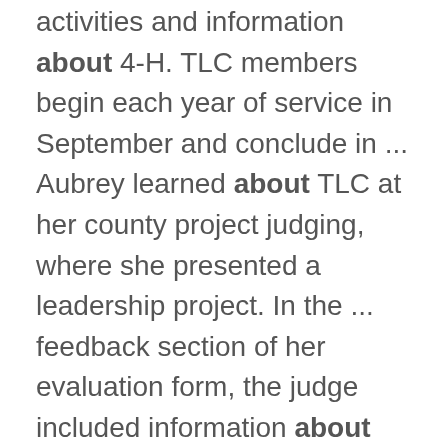activities and information about 4-H. TLC members begin each year of service in September and conclude in ... Aubrey learned about TLC at her county project judging, where she presented a leadership project. In the ... feedback section of her evaluation form, the judge included information about the TLC program and ...
Faces of Ohio 4-H — Fran DeWine
https://ohio4h.org/august-2022/faces-ohio-4-h-%E2%80%94-fran-dewine
works to encourage today's youth to learn more about where their food comes from, a project she is ... passionate about. "At the